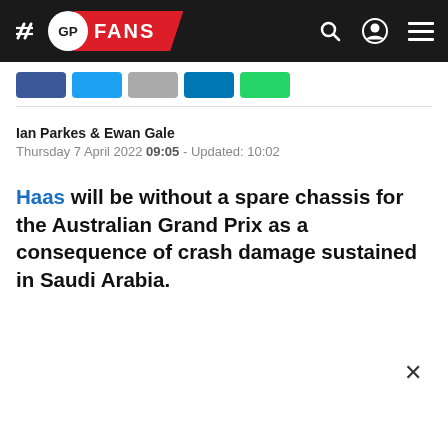GP FANS
Ian Parkes & Ewan Gale
Thursday 7 April 2022 09:05 - Updated: 10:02
Haas will be without a spare chassis for the Australian Grand Prix as a consequence of crash damage sustained in Saudi Arabia.